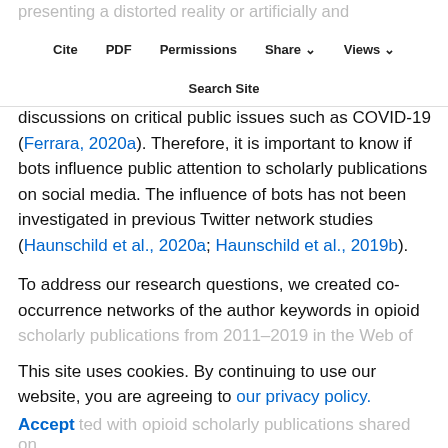presenting a distorted reality or artificially and forcefully changing or influencing the public discourse. Bots can manipulate public attention to and
Cite  PDF  Permissions  Share  Views  Search Site
discussions on critical public issues such as COVID-19 (Ferrara, 2020a). Therefore, it is important to know if bots influence public attention to scholarly publications on social media. The influence of bots has not been investigated in previous Twitter network studies (Haunschild et al., 2020a; Haunschild et al., 2019b).
To address our research questions, we created co-occurrence networks of the author keywords in opioid scholarly publications from 2011–2019 in the Web of
This site uses cookies. By continuing to use our website, you are agreeing to our privacy policy.
Accept
associated with opioid scholarly publications shared on